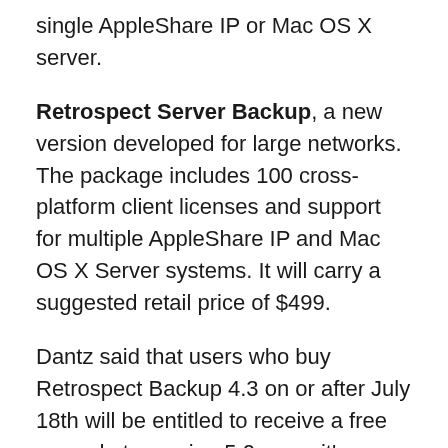single AppleShare IP or Mac OS X server.
Retrospect Server Backup, a new version developed for large networks. The package includes 100 cross-platform client licenses and support for multiple AppleShare IP and Mac OS X Server systems. It will carry a suggested retail price of $499.
Dantz said that users who buy Retrospect Backup 4.3 on or after July 18th will be entitled to receive a free upgrade to version 5.0, once it's available. Upgrades to beefier Retrospect packages will also be available at a discount. Expect to hear about upgrade pricing when the product is released this fall.